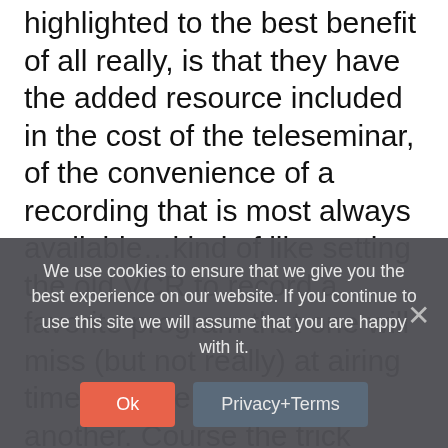highlighted to the best benefit of all really, is that they have the added resource included in the cost of the teleseminar, of the convenience of a recording that is most always available…kind of like setting the old VCR to record a favorite program that one will miss (but not really) at airing time, for one reason or another. Course the trick here, is that missing the live interaction in the teleseminar is not to be discounted. First-person (participative) experience in learning about new knowledge or even reviewing familiar knowledge is a great part of the
We use cookies to ensure that we give you the best experience on our website. If you continue to use this site we will assume that you are happy with it.